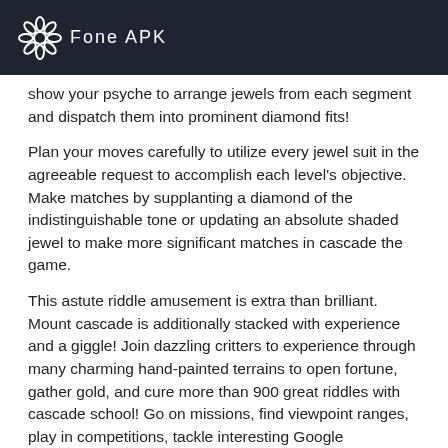Fone APK
show your psyche to arrange jewels from each segment and dispatch them into prominent diamond fits!
Plan your moves carefully to utilize every jewel suit in the agreeable request to accomplish each level's objective. Make matches by supplanting a diamond of the indistinguishable tone or updating an absolute shaded jewel to make more significant matches in cascade the game.
This astute riddle amusement is extra than brilliant. Mount cascade is additionally stacked with experience and a giggle! Join dazzling critters to experience through many charming hand-painted terrains to open fortune, gather gold, and cure more than 900 great riddles with cascade school! Go on missions, find viewpoint ranges, play in competitions, tackle interesting Google Challenges, and win loosened prizes with the Daily Spin in cascade app!